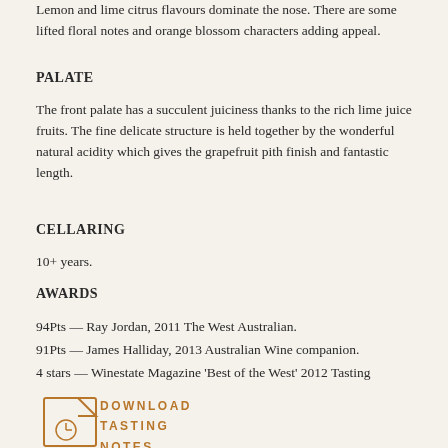Lemon and lime citrus flavours dominate the nose. There are some lifted floral notes and orange blossom characters adding appeal.
PALATE
The front palate has a succulent juiciness thanks to the rich lime juice fruits. The fine delicate structure is held together by the wonderful natural acidity which gives the grapefruit pith finish and fantastic length.
CELLARING
10+ years.
AWARDS
94Pts — Ray Jordan, 2011 The West Australian.
91Pts — James Halliday, 2013 Australian Wine companion.
4 stars — Winestate Magazine 'Best of the West' 2012 Tasting
[Figure (illustration): Document/file icon with a small clock symbol, accompanying a download link for tasting notes]
DOWNLOAD TASTING NOTES